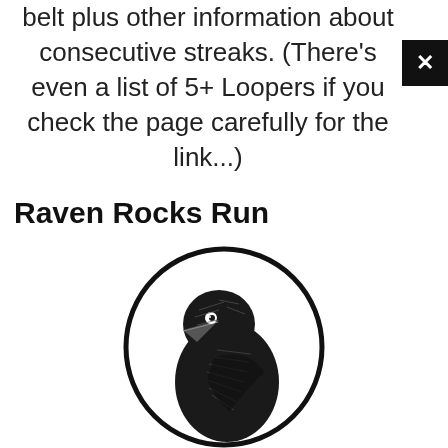belt plus other information about consecutive streaks. (There's even a list of 5+ Loopers if you check the page carefully for the link...)
Raven Rocks Run
[Figure (illustration): Black and white woodcut-style illustration of a raven's head and upper body, facing left, enclosed in a circle. The raven is rendered in dark black ink with detailed feather texture.]